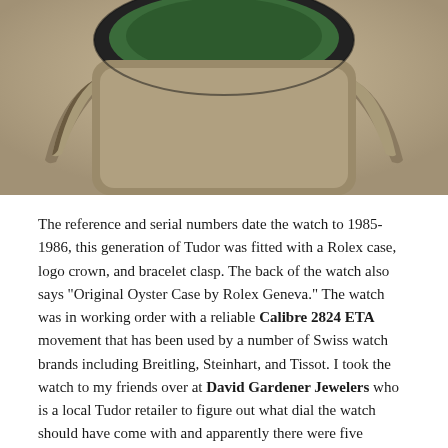[Figure (photo): Close-up photo of the crown/bezel area of a Tudor watch with a green bezel insert, showing the Rolex-branded crown and case detail on a light background.]
The reference and serial numbers date the watch to 1985-1986, this generation of Tudor was fitted with a Rolex case, logo crown, and bracelet clasp. The back of the watch also says "Original Oyster Case by Rolex Geneva." The watch was in working order with a reliable Calibre 2824 ETA movement that has been used by a number of Swiss watch brands including Breitling, Steinhart, and Tissot. I took the watch to my friends over at David Gardener Jewelers who is a local Tudor retailer to figure out what dial the watch should have come with and apparently there were five different dials offered for this particular reference. But swapping dials were fairly common on these watches since they already had the Rolex branding on them.
[Figure (photo): Partial photo showing the bottom of the page — appears to be a wooden surface with a green circular Tudor/Rolex emblem or box visible.]